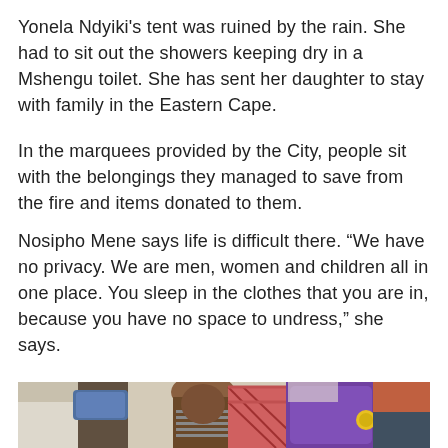Yonela Ndyiki's tent was ruined by the rain. She had to sit out the showers keeping dry in a Mshengu toilet. She has sent her daughter to stay with family in the Eastern Cape.
In the marquees provided by the City, people sit with the belongings they managed to save from the fire and items donated to them.
Nosipho Mene says life is difficult there. “We have no privacy. We are men, women and children all in one place. You sleep in the clothes that you are in, because you have no space to undress,” she says.
[Figure (photo): A woman sitting among piled belongings including bags and donated items inside a crowded marquee shelter.]